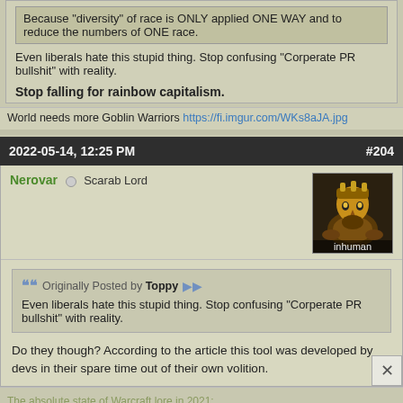Because "diversity" of race is ONLY applied ONE WAY and to reduce the numbers of ONE race.
Even liberals hate this stupid thing. Stop confusing "Corperate PR bullshit" with reality.
Stop falling for rainbow capitalism.
World needs more Goblin Warriors https://fi.imgur.com/WKs8aJA.jpg
2022-05-14, 12:25 PM   #204
Nerovar  Scarab Lord
Originally Posted by Toppy  Even liberals hate this stupid thing. Stop confusing "Corperate PR bullshit" with reality.
Do they though? According to the article this tool was developed by devs in their spare time out of their own volition.
The absolute state of Warcraft lore in 2021:
Kuriaor: We need to keep choosing people to the Main because and and